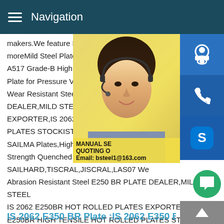Navigation
makers.We feature Microtech Knives,You moreMild Steel Plates / Coils SAILMA Plates A517 Grade-B High Yield Strength Quenched Plate for Pressure Vessel SAILHARD,TISCRAL Wear Resistant Steel Abrasion Resistant Steel DEALER,MILD STEEL IS 2062 E250BR HOT ROLLED PLATES EXPORTER,IS 2062 E250BR HIGH TENSILE HOT ROLLED PLATES STOCKIST IN MUMBAI,INDIA.More SAILMA Plates,High Tensile ASTM A517 Grade-B High Yield Strength Quenched Tempered Alloy Steel Plate for Pressure Vessel SAILHARD,TISCRAL,JISCRAL,LAS07 Wear Resistant Steel Abrasion Resistant Steel E250 BR PLATE DEALER,MILD STEEL IS 2062 E250BR HOT ROLLED PLATES EXPORTER,IS 2062 E250BR HIGH TENSILE HOT ROLLED PLATES STOCKIST IN MUMBAI,INDIA.
[Figure (photo): Woman with headset customer service representative photo with yellow background, overlaid with contact icons (headset, phone, Skype) and Manual Service/Quoting text with email bsteel1@163.com]
IS 2062 E350 BR Plate :IS 2062 E350 BR